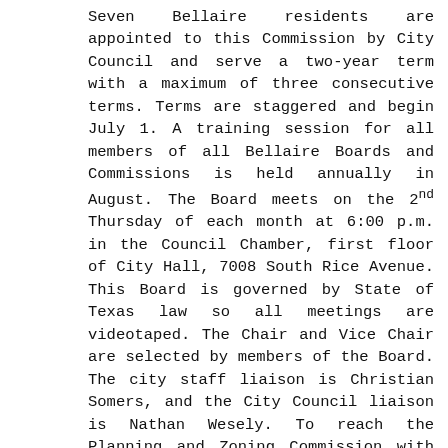Seven Bellaire residents are appointed to this Commission by City Council and serve a two-year term with a maximum of three consecutive terms. Terms are staggered and begin July 1. A training session for all members of all Bellaire Boards and Commissions is held annually in August. The Board meets on the 2nd Thursday of each month at 6:00 p.m. in the Council Chamber, first floor of City Hall, 7008 South Rice Avenue. This Board is governed by State of Texas law so all meetings are videotaped. The Chair and Vice Chair are selected by members of the Board. The city staff liaison is Christian Somers, and the City Council liaison is Nathan Wesely. To reach the Planning and Zoning Commission with questions or comments, please e-mail: zoning@bellairetx.gov.
The Commission is charged with the responsibility and vested with the authority to:
1. Formulate and recommend to the City Council,